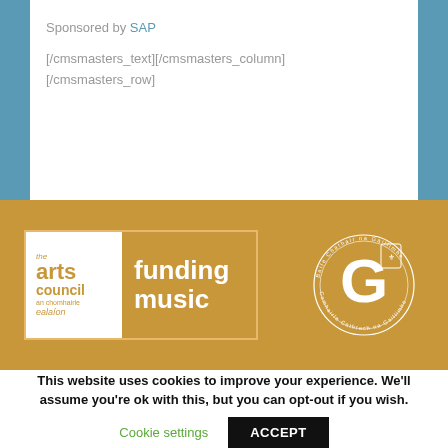Sponsored by SAP
[/cmsmasters_text][/cmsmasters_column]
[/cmsmasters_row]
[Figure (logo): The Arts Council / An Chomhairle Ealaíon logo combined with 'funding music' text on gold background]
[Figure (logo): Galway City Council circular logo in white on gold background]
This website uses cookies to improve your experience. We'll assume you're ok with this, but you can opt-out if you wish.
Cookie settings
ACCEPT